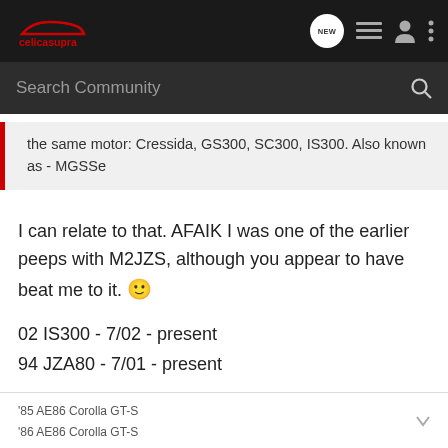celicasupra — NEW (icon) list (icon) user (icon) more (icon)
Search Community
the same motor: Cressida, GS300, SC300, IS300. Also known as - MGSSe
I can relate to that. AFAIK I was one of the earlier peeps with M2JZS, although you appear to have beat me to it. 🙂
02 IS300 - 7/02 - present
94 JZA80 - 7/01 - present
I believe I coined the term MGSS as well. ...back when I had the MkII and the MkIV at the same time. Woot! 😉
'85 AE86 Corolla GT-S
'86 AE86 Corolla GT-S